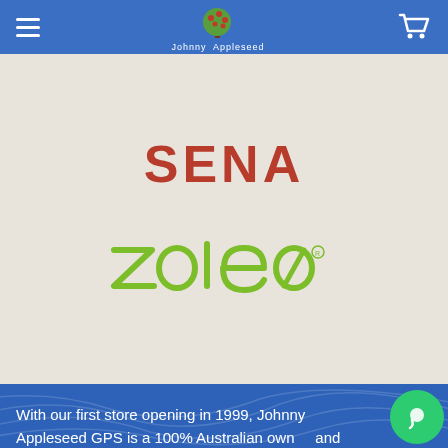Johnny Appleseed navigation bar
[Figure (logo): SENA brand logo in dark red/crimson uppercase block letters]
[Figure (logo): ZOLEO brand logo in lime green with stylized letters]
With our first store opening in 1999, Johnny Appleseed GPS is a 100% Australian owned and operated independent GPS specialist store, operating in QLD, NSW, VIC and